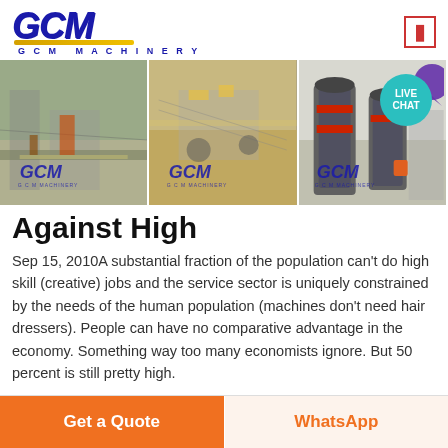[Figure (logo): GCM Machinery logo with blue italic text, gold underline, and 'G C M MACHINERY' subtitle]
[Figure (photo): Three side-by-side photos of mining/crushing machinery operations with GCM watermarks. Left: construction/excavation site, Center: conveyor belt screening plant, Right: industrial grinding mill machines. Live Chat bubble in top right corner.]
Against High
Sep 15, 2010A substantial fraction of the population can't do high skill (creative) jobs and the service sector is uniquely constrained by the needs of the human population (machines don't need hair dressers). People can have no comparative advantage in the economy. Something way too many economists ignore. But 50 percent is still pretty high.
Get a Quote
WhatsApp